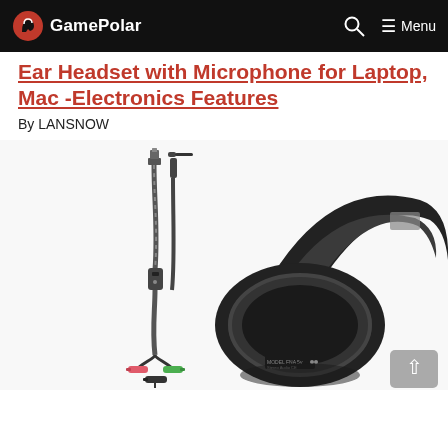GamePolar | Menu
Ear Headset with Microphone for Laptop, Mac -Electronics Features
By LANSNOW
[Figure (photo): Product photo of a black over-ear gaming headset with microphone, showing the headset alongside USB and 3.5mm audio cables and a splitter cable with pink and green connectors.]